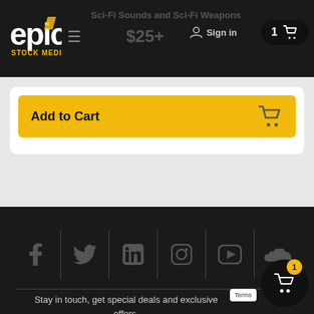[Figure (screenshot): Epic Stock Media website navigation bar with logo, hamburger menu, product title 'Sci-Fi Sounds and Sci-Fi Weapons', price starting at $25+, Sign in link, and cart button showing 1 item]
[Figure (screenshot): Add to Cart button in yellow/gold color with shopping cart icon on right side]
[Figure (screenshot): Social media icons row: Facebook, Twitter, LinkedIn, Instagram, YouTube, SoundCloud on dark background]
Stay in touch, get special deals and exclusive offers.